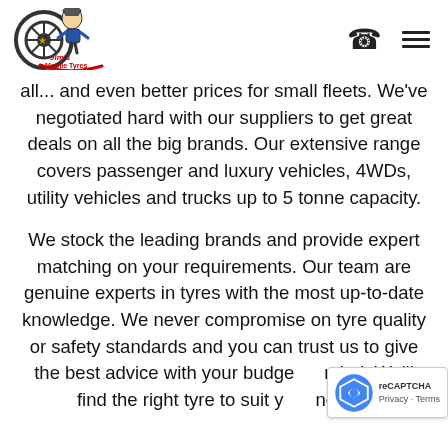[Figure (logo): Jim's Mobile Tyres logo with cartoon figure and red swoosh]
all... and even better prices for small fleets. We've negotiated hard with our suppliers to get great deals on all the big brands. Our extensive range covers passenger and luxury vehicles, 4WDs, utility vehicles and trucks up to 5 tonne capacity.
We stock the leading brands and provide expert matching on your requirements. Our team are genuine experts in tyres with the most up-to-date knowledge. We never compromise on tyre quality or safety standards and you can trust us to give the best advice with your budget in mind. We'll find the right tyre to suit your needs!